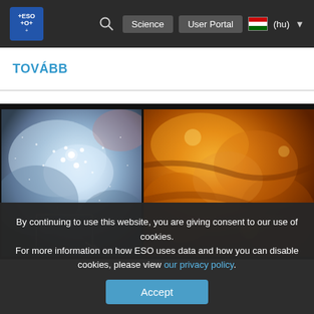ESO Science User Portal (hu)
TOVÁBB
[Figure (photo): Two astronomical images side by side: left image shows a blue-white star cluster nebula; right image shows an infrared view with orange/red tones of a nebula region]
By continuing to use this website, you are giving consent to our use of cookies.
For more information on how ESO uses data and how you can disable cookies, please view our privacy policy.
Accept